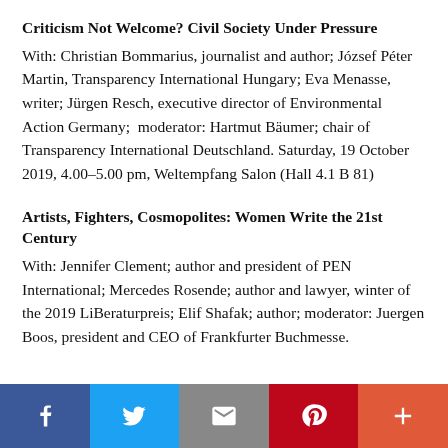Criticism Not Welcome? Civil Society Under Pressure
With: Christian Bommarius, journalist and author; József Péter Martin, Transparency International Hungary; Eva Menasse, writer; Jürgen Resch, executive director of Environmental Action Germany;  moderator: Hartmut Bäumer; chair of Transparency International Deutschland. Saturday, 19 October 2019, 4.00–5.00 pm, Weltempfang Salon (Hall 4.1 B 81)
Artists, Fighters, Cosmopolites: Women Write the 21st Century
With: Jennifer Clement; author and president of PEN International; Mercedes Rosende; author and lawyer, winter of the 2019 LiBeraturpreis; Elif Shafak; author; moderator: Juergen Boos, president and CEO of Frankfurter Buchmesse.